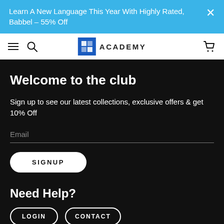Learn A New Language This Year With Highly Rated, Babbel – 55% Off
[Figure (logo): Stack Commerce Academy logo with blue grid icon and ACADEMY text]
Welcome to the club
Sign up to see our latest collections, exclusive offers & get 10% Off
Email
SIGNUP
Need Help?
LOGIN
CONTACT
SHIPPING
FAQS